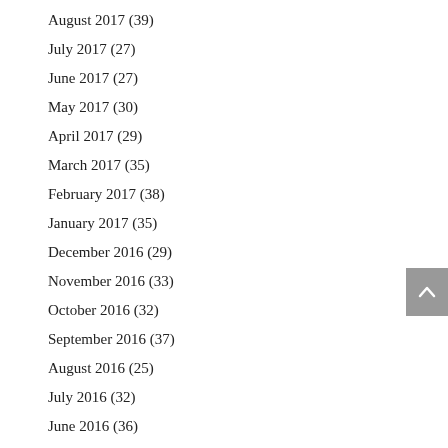August 2017 (39)
July 2017 (27)
June 2017 (27)
May 2017 (30)
April 2017 (29)
March 2017 (35)
February 2017 (38)
January 2017 (35)
December 2016 (29)
November 2016 (33)
October 2016 (32)
September 2016 (37)
August 2016 (25)
July 2016 (32)
June 2016 (36)